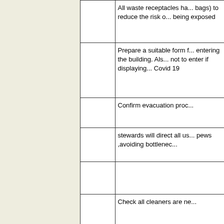|  |  | All waste receptacles ha... bags) to reduce the risk of... being exposed |
|  |  | Prepare a suitable form f... entering the building. Als... not to enter if displaying... Covid 19 |
|  |  | Confirm evacuation proc... |
|  |  | stewards will direct all us... pews ,avoiding bottlenec... |
|  |  |  |
|  |  | Check all cleaners are ne... |